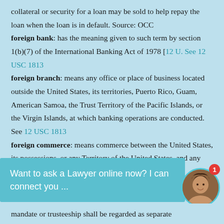collateral or security for a loan may be sold to help repay the loan when the loan is in default. Source: OCC
foreign bank: has the meaning given to such term by section 1(b)(7) of the International Banking Act of 1978 [12 U. See 12 USC 1813
foreign branch: means any office or place of business located outside the United States, its territories, Puerto Rico, Guam, American Samoa, the Trust Territory of the Pacific Islands, or the Virgin Islands, at which banking operations are conducted. See 12 USC 1813
foreign commerce: means commerce between the United States, its possessions, or any Territory of the United States, and any foreign country. See 7 USC 1561
Want to ask a Lawyer online now? I can connect you ...
mandate or trusteeship shall be regarded as separate